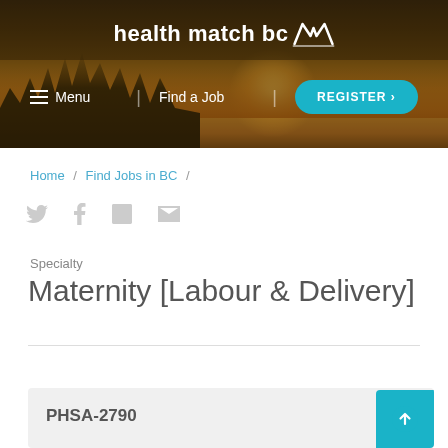[Figure (screenshot): Health Match BC website header banner with sunset/landscape background photo, logo, navigation menu with hamburger icon, Find a Job link, and REGISTER button]
Home / Find Jobs in BC /
[Figure (infographic): Social media share icons: Twitter bird, Facebook f, LinkedIn in, envelope/email]
Specialty
Maternity [Labour & Delivery]
PHSA-2790